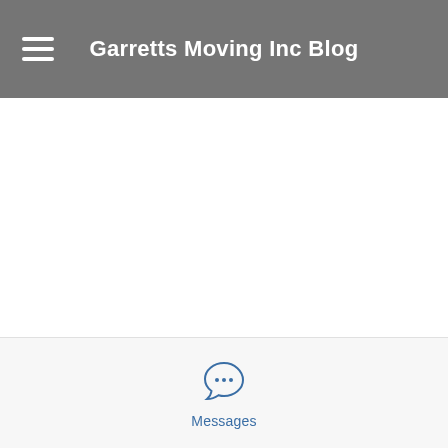Garretts Moving Inc Blog
[Figure (illustration): Chat bubble icon with three dots (ellipsis) indicating a messages/chat interface element]
Messages